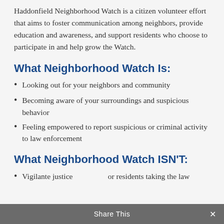Haddonfield Neighborhood Watch is a citizen volunteer effort that aims to foster communication among neighbors, provide education and awareness, and support residents who choose to participate in and help grow the Watch.
What Neighborhood Watch Is:
Looking out for your neighbors and community
Becoming aware of your surroundings and suspicious behavior
Feeling empowered to report suspicious or criminal activity to law enforcement
What Neighborhood Watch ISN'T:
Vigilante justice or residents taking the law into their own hands
Share This ×